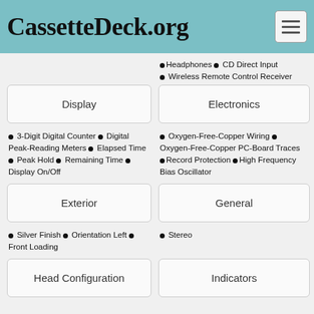CassetteDeck.org
Headphones • CD Direct Input • Wireless Remote Control Receiver
Display
Electronics
3-Digit Digital Counter • Digital Peak-Reading Meters • Elapsed Time • Peak Hold • Remaining Time • Display On/Off
Oxygen-Free-Copper Wiring • Oxygen-Free-Copper PC-Board Traces • Record Protection • High Frequency Bias Oscillator
Exterior
General
Silver Finish • Orientation Left • Front Loading
Stereo
Head Configuration
Indicators